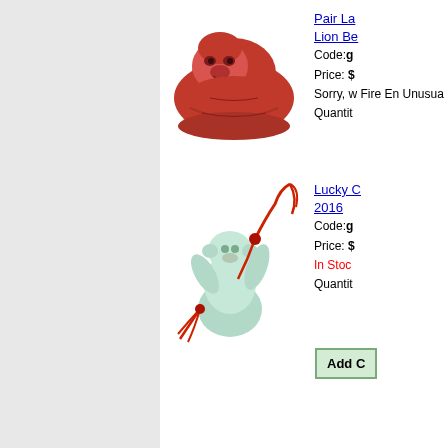[Figure (photo): Red resin lion bead figurine sculpture]
Pair La... Lion Be... Code:g... Price: $... Sorry, w... Fire En... Unusua... Quantit...
[Figure (photo): Pale green jade-look monkey figurine with red string/tassel]
Lucky C... 2016 Code:g... Price: $... In Stoc... Quantit...
Add C...